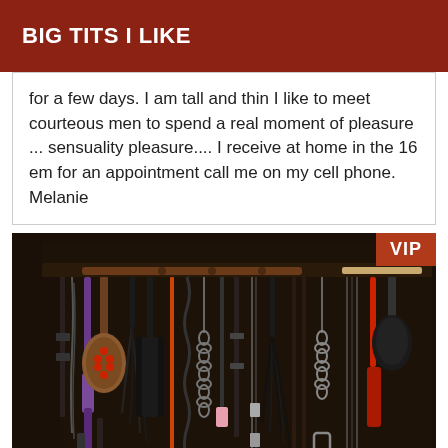BIG TITS I LIKE
for a few days. I am tall and thin I like to meet courteous men to spend a real moment of pleasure ... sensuality pleasure.... I receive at home in the 16 em for an appointment call me on my cell phone. Melanie
[Figure (photo): Dark photograph showing a wall-mounted rack of various leather restraints, chains, paddles, whips, and other implements hanging from hooks against a dark background. A 'VIP' badge appears in the top-right corner of the image.]